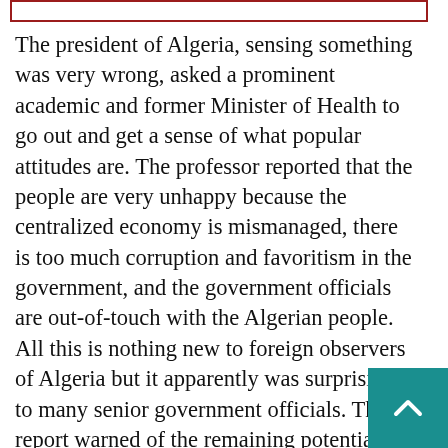The president of Algeria, sensing something was very wrong, asked a prominent academic and former Minister of Health to go out and get a sense of what popular attitudes are. The professor reported that the people are very unhappy because the centralized economy is mismanaged, there is too much corruption and favoritism in the government, and the government officials are out-of-touch with the Algerian people. All this is nothing new to foreign observers of Algeria but it apparently was surprising to many senior government officials. The report warned of the remaining potential for a violent uprising. This may be avoided by the upcoming parliamentary elections, which will create a legislature whose main chore is to create a new constitution. This is expected to toss out the old elected dictatorship of families who were prominent in the fight against colonial France half a century